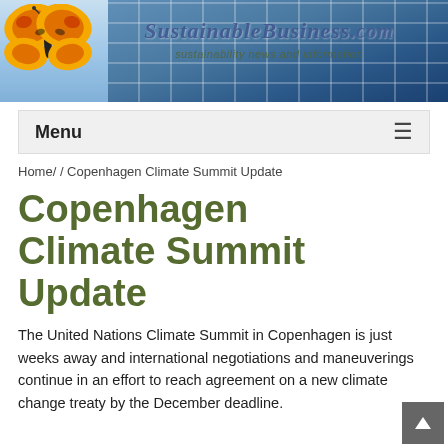[Figure (illustration): Website header banner showing solar panels background with a butterfly on the left and SustainableBusiness.com logo text overlaid. Tagline reads 'sustainability news and information'.]
Menu
Home/ / Copenhagen Climate Summit Update
Copenhagen Climate Summit Update
The United Nations Climate Summit in Copenhagen is just weeks away and international negotiations and maneuverings continue in an effort to reach agreement on a new climate change treaty by the December deadline.